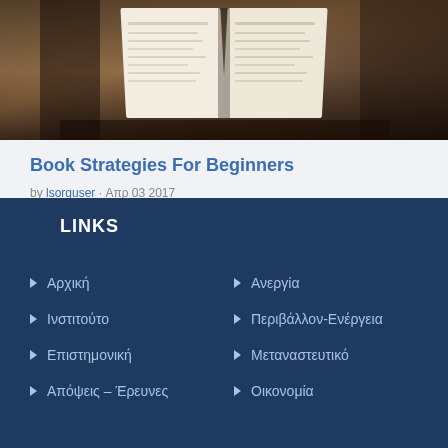[Figure (photo): Open book photographed from above on a wooden surface, pages spread open]
Book Strategies For Beginners
by lsorguser · Απρ 03 2017
LINKS
Αρχική
Ανεργία
Ινστιτούτο
Περιβάλλον-Ενέργεια
Επιστημονική
Μεταναστευτικό
Απόψεις – Έρευνες
Οικονομία